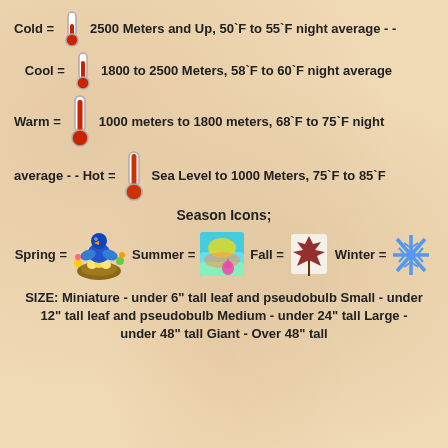Cold = [thermometer icon] 2500 Meters and Up, 50`F to 55`F night average - -
Cool = [thermometer icon] 1800 to 2500 Meters, 58`F to 60`F night average
Warm = [thermometer icon] 1000 meters to 1800 meters, 68`F to 75`F night average - - Hot = [thermometer icon] Sea Level to 1000 Meters, 75`F to 85`F
Season Icons;
[Figure (infographic): Season icons: Spring (bird in nest illustration), Summer (colorful abstract heat image), Fall (maple leaf), Winter (snowflake)]
Spring = [spring icon] Summer = [summer icon] Fall = [fall icon] Winter = [winter icon]
SIZE: Miniature - under 6" tall leaf and pseudobulb Small - under 12" tall leaf and pseudobulb Medium - under 24" tall Large - under 48" tall Giant - Over 48" tall